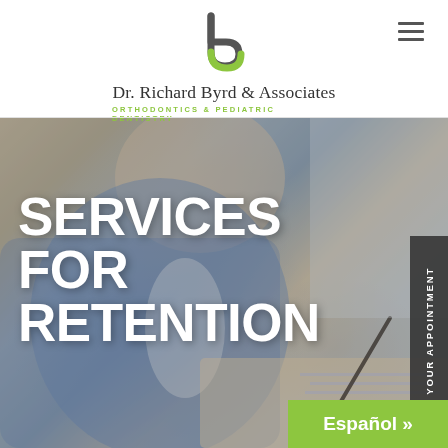[Figure (logo): Dr. Richard Byrd & Associates orthodontics logo — stylized letter b in dark gray and green]
Dr. Richard Byrd & Associates
ORTHODONTICS & PEDIATRIC DENTISTRY
[Figure (photo): Smiling young boy in blue plaid shirt writing in a notebook, serving as hero background image]
SERVICES FOR RETENTION
MAKE YOUR APPOINTMENT
Español »